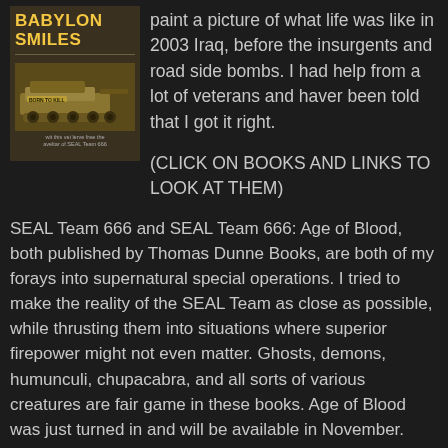[Figure (illustration): Book cover of 'Babylon Smiles' showing a yellow/tan colored tank with 'BORN TO KILL' written on it, with title in bold yellow text at top]
paint a picture of what life was like in 2003 Iraq, before the insurgents and road side bombs. I had help from a lot of veterans and haver been told that I got it right.

(CLICK ON BOOKS AND LINKS TO LOOK AT THEM)
SEAL Team 666 and SEAL Team 666: Age of Blood, both published by Thomas Dunne Books, are both of my forays into supernatural special operations. I tried to make the reality of the SEAL Team as close as possible, while thrusting them into situations where superior firepower might not even matter. Ghosts, demons, humunculi, chupacabra, and all sorts of various creatures are fair game in these books. Age of Blood was just turned in and will be available in November.
Border Dogs is a novella prequel to SEAL Team 666 and brings the team up against narco-trafficers and patriots. I wanted to highlight some of the border issues with this one,